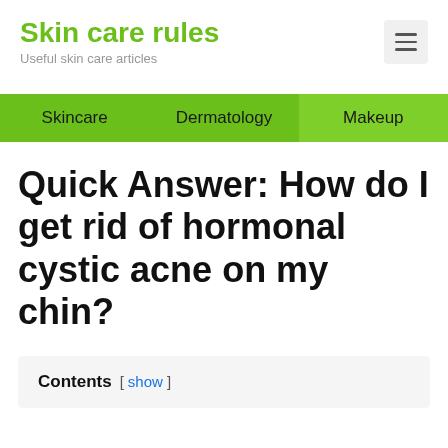Skin care rules — Useful skin care articles
Skincare   Dermatology   Makeup
Quick Answer: How do I get rid of hormonal cystic acne on my chin?
Contents [ show ]